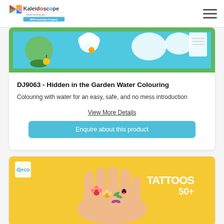Kaleidoscope - Award winning toys - 100% Australian Company
[Figure (photo): Product image for Hidden in the Garden Water Colouring - colorful garden scene with blue/green background]
DJ9063 - Hidden in the Garden Water Colouring
Colouring with water for an easy, safe, and no mess introduction
View More Details
Enquire about this product
[Figure (photo): Product image for Tattoos 50+ - hand with colorful flower and insect tattoos on yellow background]